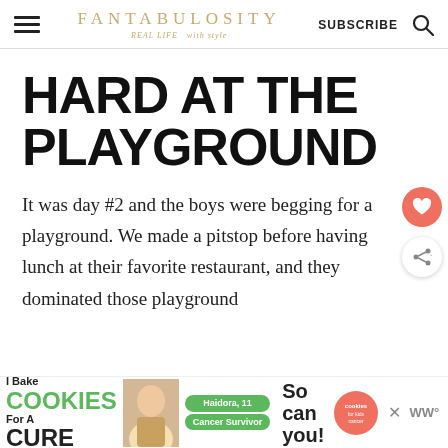FANTABULOSITY — REAL LIFE with style — SUBSCRIBE
HARD AT THE PLAYGROUND
It was day #2 and the boys were begging for a playground. We made a pitstop before having lunch at their favorite restaurant, and they dominated those playground